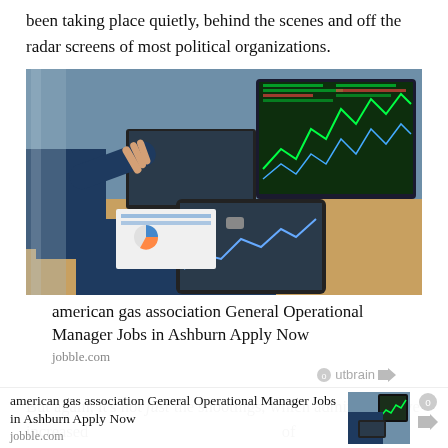been taking place quietly, behind the scenes and off the radar screens of most political organizations.
[Figure (photo): Two business professionals in dark suits reviewing financial data on a tablet and monitor displaying stock market charts, seated at a desk.]
american gas association General Operational Manager Jobs in Ashburn Apply Now
jobble.com
But again, it's not just the shootings, which admittedly have increase d of Homesch up with "the viol
[Figure (photo): Overlay ad: american gas association General Operational Manager Jobs in Ashburn Apply Now - jobble.com, with thumbnail of business people at desk with financial charts.]